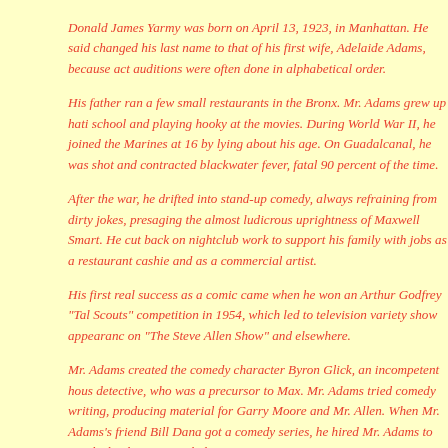Donald James Yarmy was born on April 13, 1923, in Manhattan. He said changed his last name to that of his first wife, Adelaide Adams, because act auditions were often done in alphabetical order.
His father ran a few small restaurants in the Bronx. Mr. Adams grew up hati school and playing hooky at the movies. During World War II, he joined the Marines at 16 by lying about his age. On Guadalcanal, he was shot and contracted blackwater fever, fatal 90 percent of the time.
After the war, he drifted into stand-up comedy, always refraining from dirty jokes, presaging the almost ludicrous uprightness of Maxwell Smart. He cut back on nightclub work to support his family with jobs as a restaurant cashie and as a commercial artist.
His first real success as a comic came when he won an Arthur Godfrey "Tal Scouts" competition in 1954, which led to television variety show appearanc on "The Steve Allen Show" and elsewhere.
Mr. Adams created the comedy character Byron Glick, an incompetent hous detective, who was a precursor to Max. Mr. Adams tried comedy writing, producing material for Garry Moore and Mr. Allen. When Mr. Adams's friend Bill Dana got a comedy series, he hired Mr. Adams to regularly play Byron Glick.